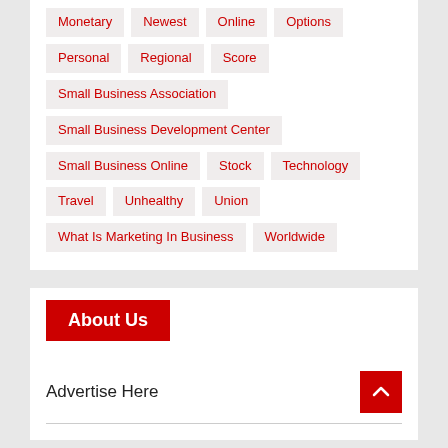Monetary
Newest
Online
Options
Personal
Regional
Score
Small Business Association
Small Business Development Center
Small Business Online
Stock
Technology
Travel
Unhealthy
Union
What Is Marketing In Business
Worldwide
About Us
Advertise Here